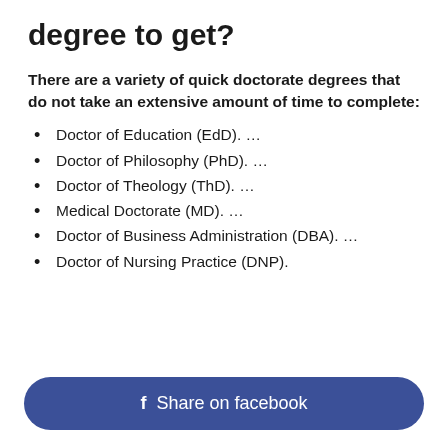degree to get?
There are a variety of quick doctorate degrees that do not take an extensive amount of time to complete:
Doctor of Education (EdD). …
Doctor of Philosophy (PhD). …
Doctor of Theology (ThD). …
Medical Doctorate (MD). …
Doctor of Business Administration (DBA). …
Doctor of Nursing Practice (DNP).
Share on facebook